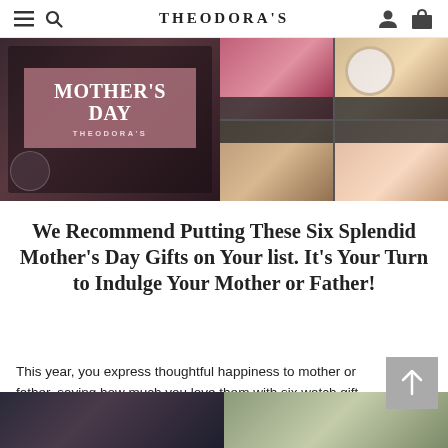THEODORA'S
[Figure (photo): Mother's Day promotional banner collage with jewelry, watches, and flowers. Left side shows a pink overlay box with 'MOTHER'S DAY / THEODORA'S' text. Right side shows watches and floral arrangements.]
We Recommend Putting These Six Splendid Mother's Day Gifts on Your list. It's Your Turn to Indulge Your Mother or Father!
This year, you express thoughtful happiness to mother or father, saying how much you love them with six watch gift sets! ......(Read more)
[Figure (photo): Bottom strip showing partial photos of lifestyle/people images.]